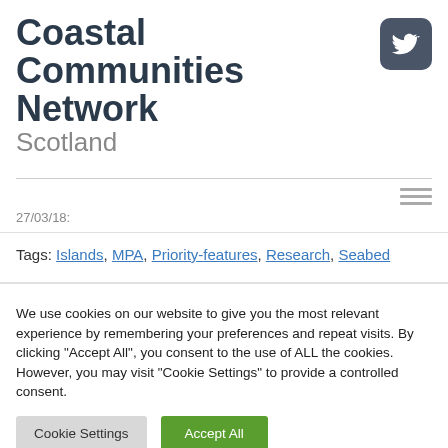Coastal Communities Network Scotland
[Figure (logo): Twitter bird icon in dark rounded square]
27/03/18:
Tags: Islands, MPA, Priority-features, Research, Seabed
We use cookies on our website to give you the most relevant experience by remembering your preferences and repeat visits. By clicking "Accept All", you consent to the use of ALL the cookies. However, you may visit "Cookie Settings" to provide a controlled consent.
Cookie Settings | Accept All